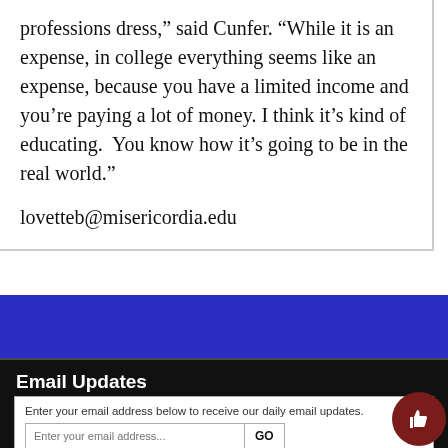professions dress,” said Cunfer. “While it is an expense, in college everything seems like an expense, because you have a limited income and you’re paying a lot of money. I think it’s kind of educating. You know how it’s going to be in the real world.”
lovetteb@misericordia.edu
[Figure (other): Blue background section]
Email Updates
Enter your email address below to receive our daily email updates.
[Figure (other): Email input field with GO button and thumbs up icon]